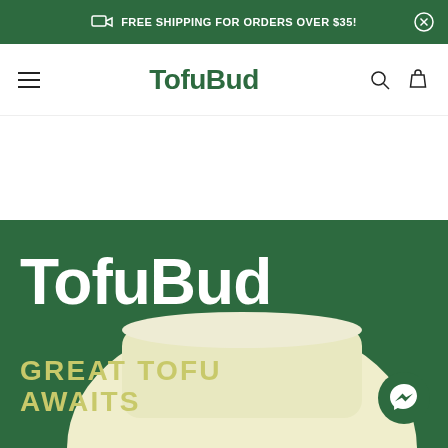FREE SHIPPING FOR ORDERS OVER $35!
TofuBud
[Figure (illustration): TofuBud website hero section with dark green background, large white TofuBud text, cream/beige tofu block silhouette, and tagline 'GREAT TOFU AWAITS' in olive/yellow text. A Facebook Messenger chat button appears at bottom right.]